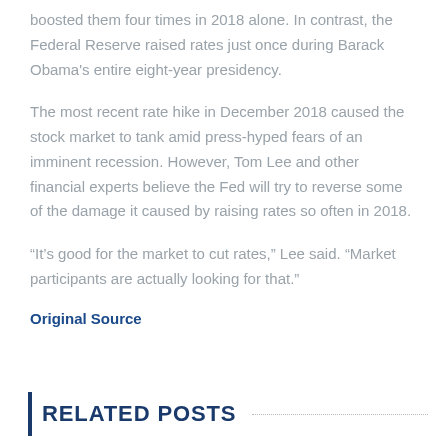boosted them four times in 2018 alone. In contrast, the Federal Reserve raised rates just once during Barack Obama's entire eight-year presidency.
The most recent rate hike in December 2018 caused the stock market to tank amid press-hyped fears of an imminent recession. However, Tom Lee and other financial experts believe the Fed will try to reverse some of the damage it caused by raising rates so often in 2018.
“It’s good for the market to cut rates,” Lee said. “Market participants are actually looking for that.”
Original Source
RELATED POSTS